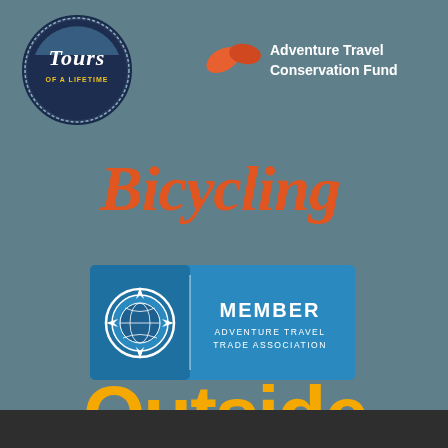[Figure (logo): Tours of a Lifetime circular logo, dark navy with white text and yellow 'OF A LIFETIME' text]
[Figure (logo): Adventure Travel Conservation Fund logo with two orange leaf/wing shapes and white text on teal background]
[Figure (logo): Bicycling magazine logo in bold italic orange/red serif font on teal background]
[Figure (logo): Adventure Travel Trade Association Member badge - blue rectangle with globe compass icon on left and MEMBER / ADVENTURE TRAVEL TRADE ASSOCIATION text on right]
[Figure (logo): Outside magazine logo in large bold yellow/orange rounded font on teal background]